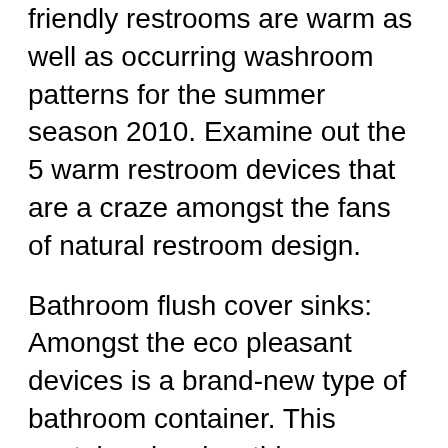friendly restrooms are warm as well as occurring washroom patterns for the summer season 2010. Examine out the 5 warm restroom devices that are a craze amongst the fans of natural restroom design.
Bathroom flush cover sinks: Amongst the eco pleasant devices is a brand-new type of bathroom container. This container is a low tide usage device that makes use of the flush storage tank water, hence conserving water in massive amounts. Bathroom flush cover container is a little container atop the flush cover which conserves room and also water both, The water is after that utilized for purging function just, hence conserving the water which was to be utilized for cleaning hands in a different container.